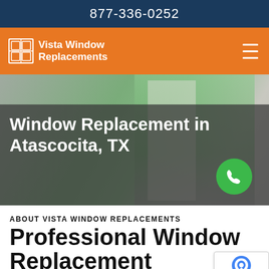877-336-0252
[Figure (logo): Vista Window Replacements logo with window icon on orange background, hamburger menu icon on right]
[Figure (photo): Worker installing or replacing a window, with green foliage visible outside. Semi-transparent dark overlay shows title text. Green phone call button in lower right.]
Window Replacement in Atascocita, TX
ABOUT VISTA WINDOW REPLACEMENTS
Professional Window Replacement Company